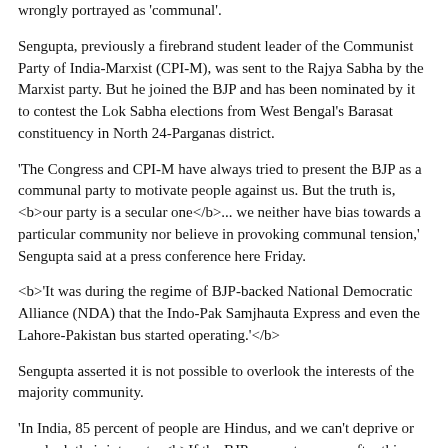wrongly portrayed as 'communal'.
Sengupta, previously a firebrand student leader of the Communist Party of India-Marxist (CPI-M), was sent to the Rajya Sabha by the Marxist party. But he joined the BJP and has been nominated by it to contest the Lok Sabha elections from West Bengal's Barasat constituency in North 24-Parganas district.
'The Congress and CPI-M have always tried to present the BJP as a communal party to motivate people against us. But the truth is, <b>our party is a secular one</b>... we neither have bias towards a particular community nor believe in provoking communal tension,' Sengupta said at a press conference here Friday.
<b>'It was during the regime of BJP-backed National Democratic Alliance (NDA) that the Indo-Pak Samjhauta Express and even the Lahore-Pakistan bus started operating.'</b>
Sengupta asserted it is not possible to overlook the interests of the majority community.
'In India, 85 percent of people are Hindus, and we can't deprive or overlook their interests. <b>If the BJP comes to power after this Lok Sabha polls, one of our principal agenda will be to work for the development of the minority community, and at the same time</b>